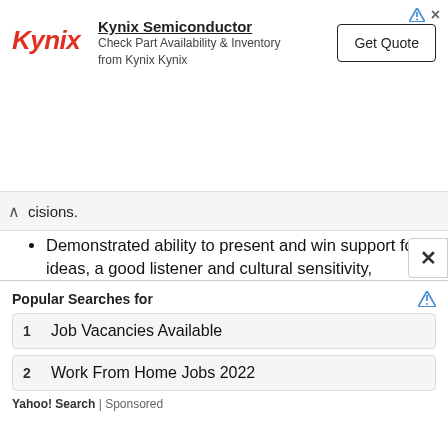[Figure (infographic): Kynix Semiconductor advertisement banner with Kynix logo, text 'Check Part Availability & Inventory from Kynix Kynix', and a 'Get Quote' button]
cisions.
Demonstrated ability to present and win support for ideas, a good listener and cultural sensitivity, commitment to diversity and capacity to initiate and manage innovations and change.
Proven ability to build partnerships with a broad range of clients and deliver results that meet the needs and long-term interests of
[Figure (infographic): Yahoo Search sponsored ad: Popular Searches for — 1. Job Vacancies Available, 2. Work From Home Jobs 2022]